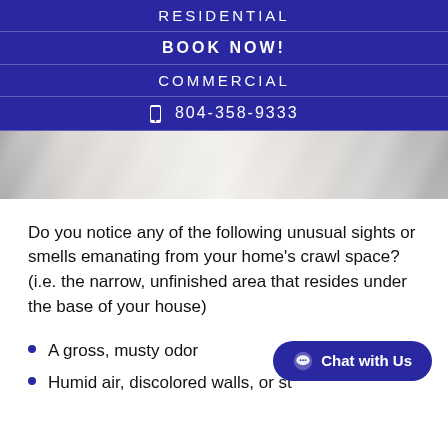RESIDENTIAL
BOOK NOW!
COMMERCIAL
804-358-9333
[Figure (photo): White/cream soft fabric or bedding surface, close-up texture]
Do you notice any of the following unusual sights or smells emanating from your home's crawl space? (i.e. the narrow, unfinished area that resides under the base of your house)
A gross, musty odor
Humid air, discolored walls, or st...